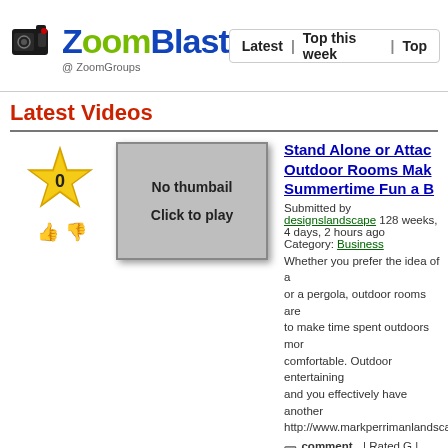ZoomBlast @ ZoomGroups | Latest | Top this week | Top
Latest Videos
Stand Alone or Attac Outdoor Rooms Mak Summertime Fun a B
Submitted by designslandscape 128 weeks, 4 days, 2 hours ago Category: Business
[Figure (screenshot): No thumbnail - Click to play box]
Whether you prefer the idea of a or a pergola, outdoor rooms are to make time spent outdoors mor comfortable. Outdoor entertaining and you effectively have another http://www.markperrimanlandsca
comment (0) | Rated G | English
Tags: outdoor rooms, Outdoor rooms, Brisbane garden design
Add to: del.icio.us, your site, your vide